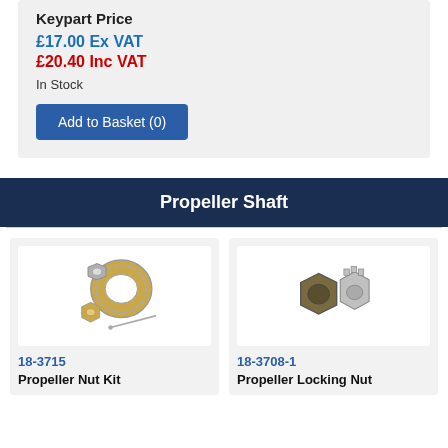Keypart Price
£17.00 Ex VAT
£20.40 Inc VAT
In Stock
Add to Basket (0)
Propeller Shaft
[Figure (photo): Propeller Nut Kit - hardware components including nuts, washer, and cotter pin]
18-3715
Propeller Nut Kit
[Figure (photo): Propeller Locking Nut - two nut components shown]
18-3708-1
Propeller Locking Nut